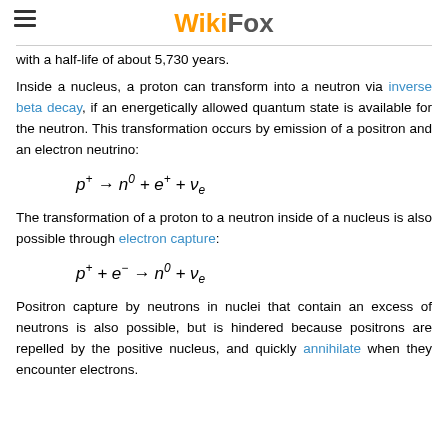WikiFox
with a half-life of about 5,730 years.
Inside a nucleus, a proton can transform into a neutron via inverse beta decay, if an energetically allowed quantum state is available for the neutron. This transformation occurs by emission of a positron and an electron neutrino:
The transformation of a proton to a neutron inside of a nucleus is also possible through electron capture:
Positron capture by neutrons in nuclei that contain an excess of neutrons is also possible, but is hindered because positrons are repelled by the positive nucleus, and quickly annihilate when they encounter electrons.